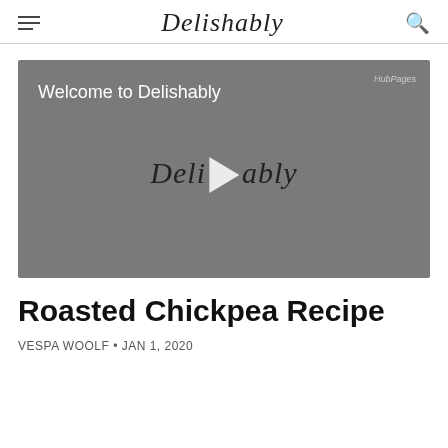Delishably
[Figure (screenshot): Video thumbnail for 'Welcome to Delishably' with a gray background, the Delishably logo in script font with a play button overlay, and HubPages watermark in top right corner.]
Roasted Chickpea Recipe
VESPA WOOLF • JAN 1, 2020